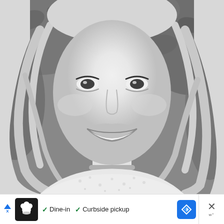[Figure (photo): Black and white portrait photograph of a young woman with long wavy blonde hair, smiling, wearing a lace top with a choker necklace, with blurred foliage background.]
[Figure (infographic): Advertisement bar at the bottom: ad triangle icon on left, chef/restaurant logo in black square, checkmarks for 'Dine-in' and 'Curbside pickup', blue navigation arrow icon, and close X button with weather-style icon on the right.]